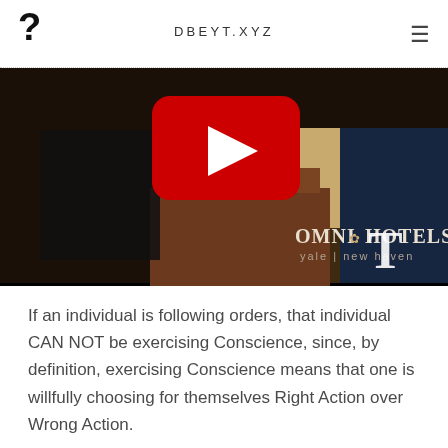DBEYT.XYZ
[Figure (screenshot): YouTube video thumbnail showing a speaker at a podium with an Omni Hotels yale | new haven sign. A YouTube play button overlay is visible in the center of the image.]
If an individual is following orders, that individual CAN NOT be exercising Conscience, since, by definition, exercising Conscience means that one is willfully choosing for themselves Right Action over Wrong Action.